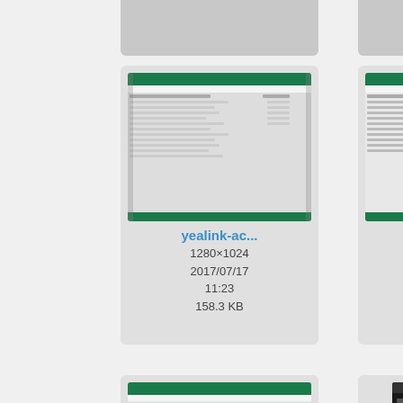[Figure (screenshot): Partial card at top-left, cropped]
[Figure (screenshot): Partial card at top-center, cropped]
[Figure (screenshot): Partial card at top-right, cropped]
[Figure (screenshot): yealink-ac... thumbnail showing spreadsheet/admin page]
yealink-ac...
1280×1024
2017/07/17
11:23
158.3 KB
[Figure (screenshot): yealink_1... thumbnail showing admin page]
yealink_1...
1016×876
2017/07/27
14:33
112.3 KB
[Figure (screenshot): yealink... thumbnail (partially cropped on right)]
yealink...
1150×...
201...
2...
[Figure (screenshot): yealink_ld... thumbnail showing admin page]
yealink_ld...
1022×681
[Figure (screenshot): zoiper-and... thumbnail showing Android app dark screen]
zoiper-and...
540×960
[Figure (screenshot): zoiper-... thumbnail partially cropped on right, dark screen]